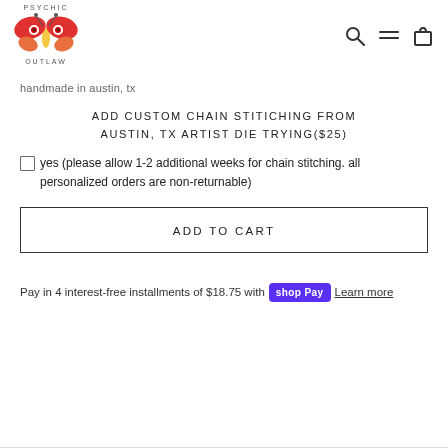Psychic Outlaw — logo and navigation
handmade in austin, tx
ADD CUSTOM CHAIN STITICHING FROM AUSTIN, TX ARTIST DIE TRYING($25)
yes (please allow 1-2 additional weeks for chain stitching. all personalized orders are non-returnable)
ADD TO CART
Pay in 4 interest-free installments of $18.75 with shop Pay Learn more